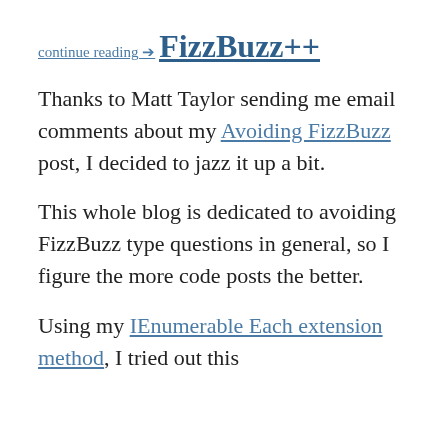continue reading →
FizzBuzz++
Thanks to Matt Taylor sending me email comments about my Avoiding FizzBuzz post, I decided to jazz it up a bit.
This whole blog is dedicated to avoiding FizzBuzz type questions in general, so I figure the more code posts the better.
Using my IEnumerable Each extension method, I tried out this